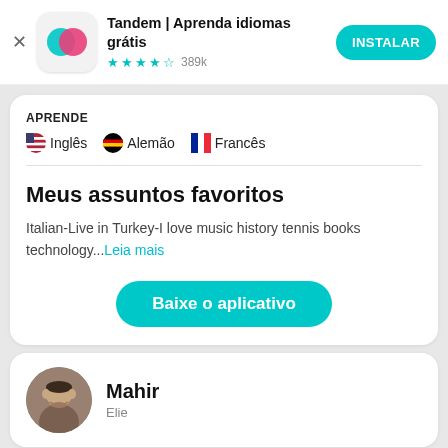[Figure (screenshot): App banner with Tandem app icon (overlapping teal and pink circles), close button, app name, star rating, and install button]
Tandem | Aprenda idiomas grátis
★★★★½ 389k
APRENDE
🇺🇸 Inglês  🇩🇪 Alemão  🇫🇷 Francês
Meus assuntos favoritos
Italian-Live in Turkey-I love music history tennis books technology...Leia mais
Baixe o aplicativo
[Figure (photo): Circular avatar photo of a man named Mahir]
Mahir